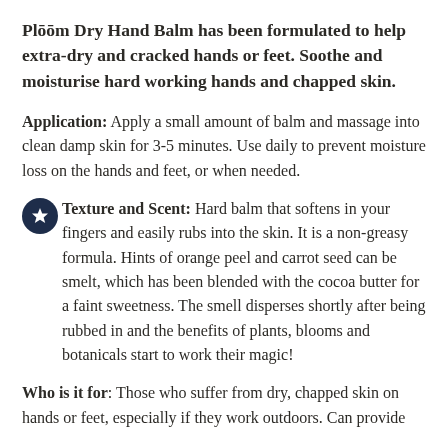Plōōm Dry Hand Balm has been formulated to help extra-dry and cracked hands or feet. Soothe and moisturise hard working hands and chapped skin.
Application: Apply a small amount of balm and massage into clean damp skin for 3-5 minutes. Use daily to prevent moisture loss on the hands and feet, or when needed.
Texture and Scent: Hard balm that softens in your fingers and easily rubs into the skin. It is a non-greasy formula. Hints of orange peel and carrot seed can be smelt, which has been blended with the cocoa butter for a faint sweetness. The smell disperses shortly after being rubbed in and the benefits of plants, blooms and botanicals start to work their magic!
Who is it for: Those who suffer from dry, chapped skin on hands or feet, especially if they work outdoors. Can provide